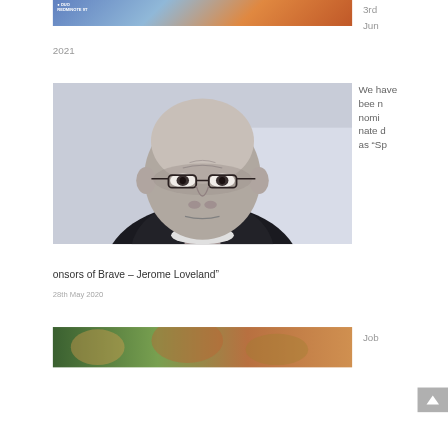[Figure (photo): Partial top image of sports players in blue and orange uniforms]
3rd
Jun
2021
[Figure (photo): Black and white portrait photo of a bald middle-aged man wearing glasses and a dark jacket]
We have been nominated as “Sponsors of Brave – Jerome Loveland”
28th May 2020
[Figure (photo): Partial bottom image of people at an outdoor sports event]
Job